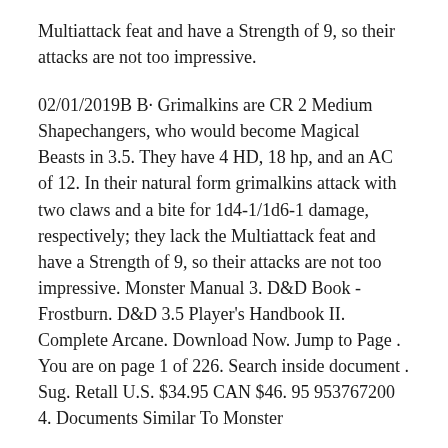Multiattack feat and have a Strength of 9, so their attacks are not too impressive.
02/01/2019B B· Grimalkins are CR 2 Medium Shapechangers, who would become Magical Beasts in 3.5. They have 4 HD, 18 hp, and an AC of 12. In their natural form grimalkins attack with two claws and a bite for 1d4-1/1d6-1 damage, respectively; they lack the Multiattack feat and have a Strength of 9, so their attacks are not too impressive. Monster Manual 3. D&D Book - Frostburn. D&D 3.5 Player's Handbook II. Complete Arcane. Download Now. Jump to Page . You are on page 1 of 226. Search inside document . Sug. Retall U.S. $34.95 CAN $46. 95 953767200 4. Documents Similar To Monster